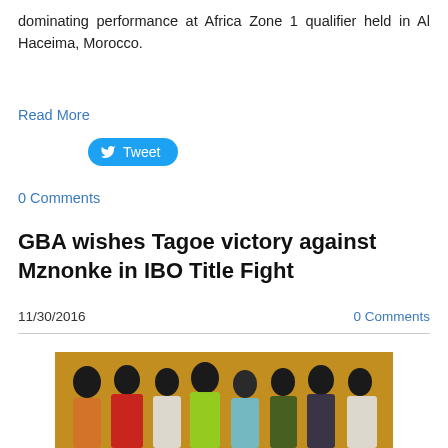dominating performance at Africa Zone 1 qualifier held in Al Haceima, Morocco.
Read More
[Figure (other): Tweet button with Twitter bird icon]
0 Comments
GBA wishes Tagoe victory against Mznonke in IBO Title Fight
11/30/2016
0 Comments
[Figure (photo): Group photo of people posing together, including a person in a yellow/green shirt pointing, a woman in a red polka dot dress, and others in a gym or indoor setting.]